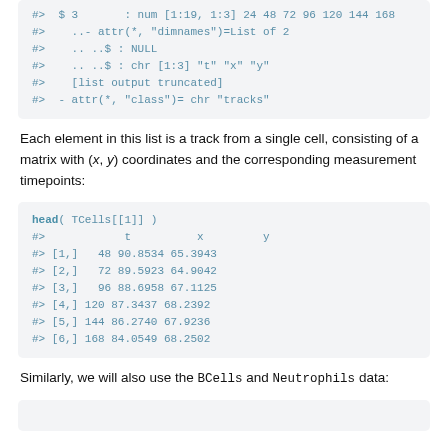[Figure (screenshot): Code block showing R output: $ 3 : num [1:19, 1:3] 24 48 72 96 120 144 168, ..- attr(*, "dimnames")=List of 2, .. ..$ : NULL, .. ..$ : chr [1:3] "t" "x" "y", [list output truncated], - attr(*, "class")= chr "tracks"]
Each element in this list is a track from a single cell, consisting of a matrix with (x, y) coordinates and the corresponding measurement timepoints:
[Figure (screenshot): R code and output: head( TCells[[1]] ) with columns t, x, y and rows [1,] 48 90.8534 65.3943; [2,] 72 89.5923 64.9042; [3,] 96 88.6958 67.1125; [4,] 120 87.3437 68.2392; [5,] 144 86.2740 67.9236; [6,] 168 84.0549 68.2502]
Similarly, we will also use the BCells and Neutrophils data: